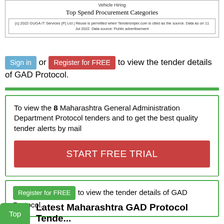Vehicle Hiring
Top Spend Procurement Categories
(c) 2022 GUGA IT Services (P) Ltd | Reuse is permitted when Tendersniper.com is cited as the source. Data as on 11 Jul 2022. Data source: Public advertisement
Sign in or Register for FREE to view the tender details of GAD Protocol.
To view the 8 Maharashtra General Administration Department Protocol tenders and to get the best quality tender alerts by mail
START FREE TRIAL
Register for FREE to view the tender details of GAD Protocol.
Latest Maharashtra GAD Protocol Tende...